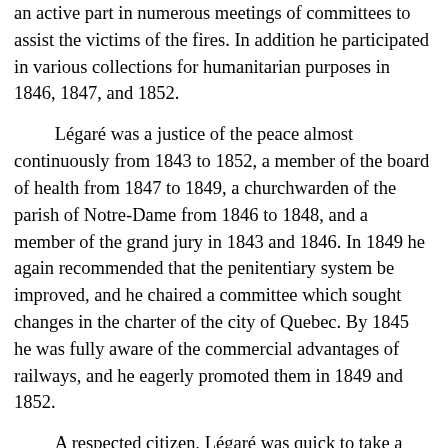an active part in numerous meetings of committees to assist the victims of the fires. In addition he participated in various collections for humanitarian purposes in 1846, 1847, and 1852.
Légaré was a justice of the peace almost continuously from 1843 to 1852, a member of the board of health from 1847 to 1849, a churchwarden of the parish of Notre-Dame from 1846 to 1848, and a member of the grand jury in 1843 and 1846. In 1849 he again recommended that the penitentiary system be improved, and he chaired a committee which sought changes in the charter of the city of Quebec. By 1845 he was fully aware of the commercial advantages of railways, and he eagerly promoted them in 1849 and 1852.
A respected citizen, Légaré was quick to take a stand on questions concerning the moral and material progress of his country. Despite the disappointments he encountered in this connection, he remained faithful to his principles and convictions. From 1827 he was an unwavering admirer of Louis-Joseph